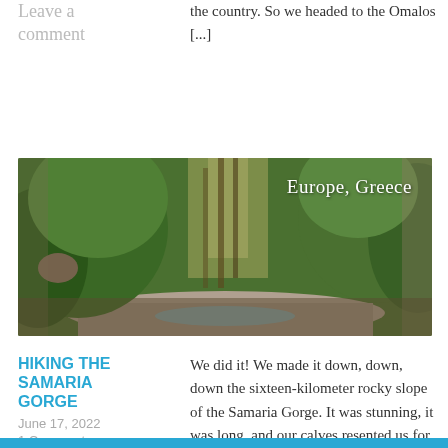Leave a comment
the country. So we headed to the Omalos [...]
[Figure (photo): Panoramic photo of the Samaria Gorge showing rocky riverbed with green trees and tall rocky walls, overlaid with text 'Europe, Greece']
HIKING THE SAMARIA GORGE
June 17, 2022
1 Comment
We did it! We made it down, down, down the sixteen-kilometer rocky slope of the Samaria Gorge. It was stunning, it was long, and our calves resented us for the [...]